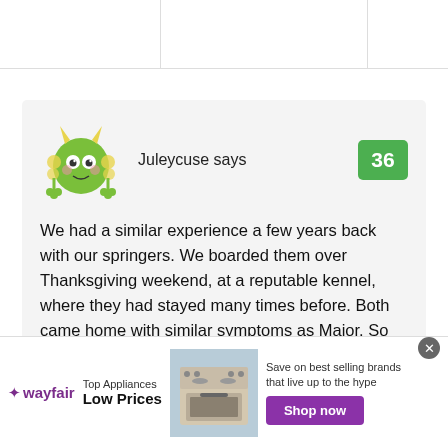Juleycuse says
36
We had a similar experience a few years back with our springers. We boarded them over Thanksgiving weekend, at a reputable kennel, where they had stayed many times before. Both came home with similar symptoms as Major. So we started ground beef and rice. The 3yr old, Penny bounced back in about a week. But our 10 year old, Bond didn't. We had to make homemade dog food for about 3mo. We have always
[Figure (other): Wayfair advertisement banner with logo, Top Appliances Low Prices copy, appliance image, and Shop now button]